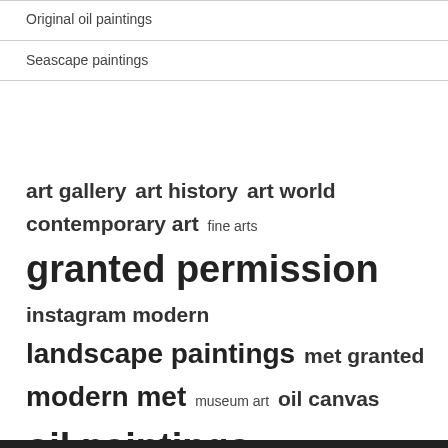Original oil paintings
Seascape paintings
art gallery  art history  art world  contemporary art  fine arts  granted permission  instagram modern  landscape paintings  met granted  modern met  museum art  oil canvas  oil paintings  related articles  united states  van gogh  works art